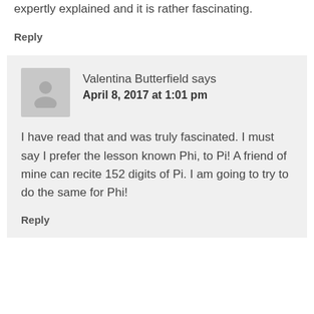In The Da Vinci Code, the golden number is expertly explained and it is rather fascinating.
Reply
[Figure (illustration): User avatar placeholder — gray silhouette of a person on gray background]
Valentina Butterfield says
April 8, 2017 at 1:01 pm
I have read that and was truly fascinated. I must say I prefer the lesson known Phi, to Pi! A friend of mine can recite 152 digits of Pi. I am going to try to do the same for Phi!
Reply